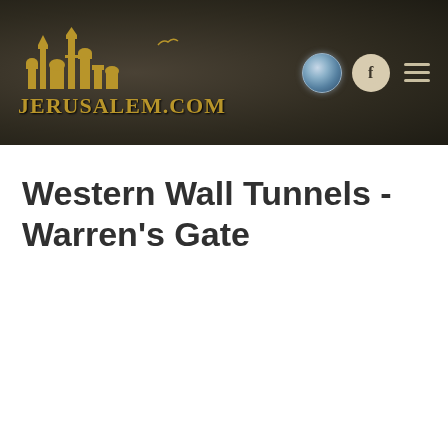[Figure (logo): Jerusalem.com website header banner with logo showing city skyline silhouette in gold on dark brown textured background, with globe icon, Facebook icon, and hamburger menu icon on the right]
Western Wall Tunnels - Warren's Gate